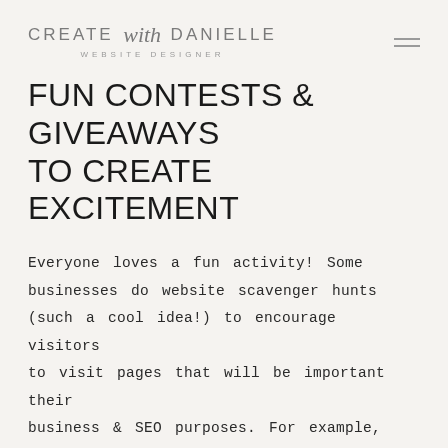CREATE with DANIELLE WEBSITE DESIGNER
FUN CONTESTS & GIVEAWAYS TO CREATE EXCITEMENT
Everyone loves a fun activity! Some businesses do website scavenger hunts (such a cool idea!) to encourage visitors to visit pages that will be important their business & SEO purposes. For example, hiding an icon somewhere on a random page & whoever finds it gets a prize! Or